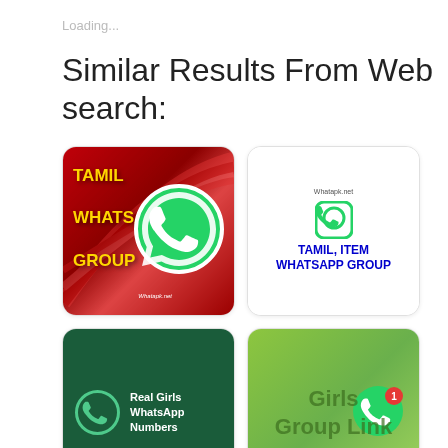Loading...
Similar Results From Web search:
[Figure (screenshot): Tamil WhatsApp Group image with red background, yellow bold text reading TAMIL WHATSAPP GROUP, and a large green WhatsApp phone icon with Whatapk.net label]
[Figure (screenshot): Tamil Item WhatsApp Group card with white background, Whatapk.net label, WhatsApp logo icon, and blue bold text TAMIL, ITEM WHATSAPP GROUP]
[Figure (screenshot): Real Girls WhatsApp Numbers card with dark green background, WhatsApp icon on left, bold white text Real Girls WhatsApp Numbers, and Whatapk.net at bottom]
[Figure (screenshot): Girls Group Link card with lime green background, dark green text Girls Group Link, and WhatsApp icon with red notification badge showing 1]